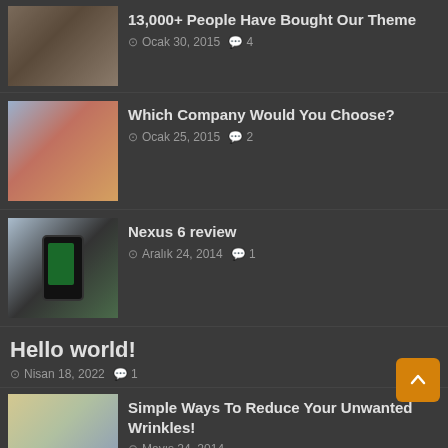13,000+ People Have Bought Our Theme — Ocak 30, 2015 💬 4
Which Company Would You Choose? — Ocak 25, 2015 💬 2
Nexus 6 review — Aralık 24, 2014 💬 1
Hello world! — Nisan 18, 2022 💬 1
Simple Ways To Reduce Your Unwanted Wrinkles! — Mayıs 24, 2014
RANDOM POSTS
Apple iMac with Retina 5K display review